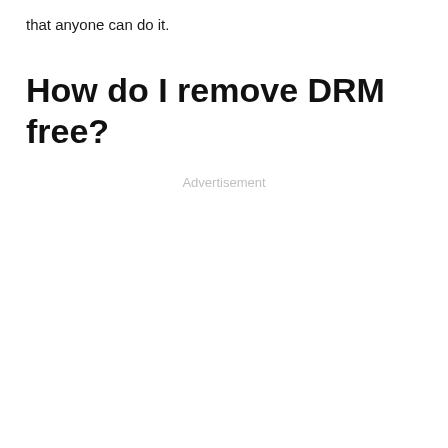that anyone can do it.
How do I remove DRM free?
Advertisement